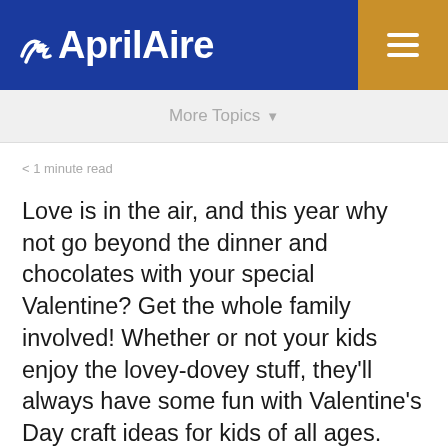AprilAire
More Topics
< 1 minute read
Love is in the air, and this year why not go beyond the dinner and chocolates with your special Valentine? Get the whole family involved! Whether or not your kids enjoy the lovey-dovey stuff, they'll always have some fun with Valentine's Day craft ideas for kids of all ages.